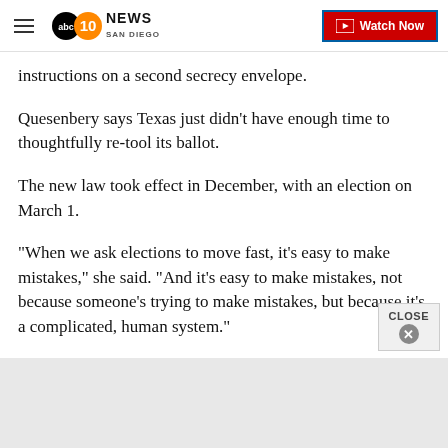10 News San Diego — Watch Now
instructions on a second secrecy envelope.
Quesenbery says Texas just didn't have enough time to thoughtfully re-tool its ballot.
The new law took effect in December, with an election on March 1.
"When we ask elections to move fast, it's easy to make mistakes," she said. "And it's easy to make mistakes, not because someone's trying to make mistakes, but because it's a complicated, human system."